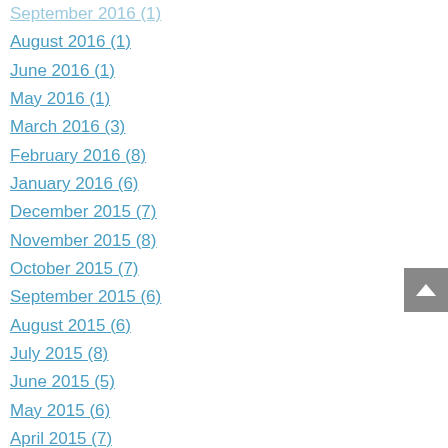September 2016 (1)
August 2016 (1)
June 2016 (1)
May 2016 (1)
March 2016 (3)
February 2016 (8)
January 2016 (6)
December 2015 (7)
November 2015 (8)
October 2015 (7)
September 2015 (6)
August 2015 (6)
July 2015 (8)
June 2015 (5)
May 2015 (6)
April 2015 (7)
March 2015 (6)
February 2015 (6)
January 2015 (8)